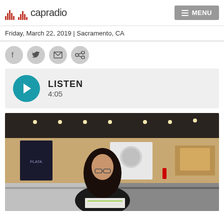capradio | MENU
Friday, March 22, 2019 | Sacramento, CA
[Figure (screenshot): Social sharing buttons: Facebook, Twitter, Email, Link]
[Figure (screenshot): Audio player with teal play button, text LISTEN, duration 4:05]
[Figure (photo): A woman with long dark hair and glasses, wearing a black jacket, stands at a jewelry store counter looking at a document. The store interior is visible in the background with display cases and track lighting.]